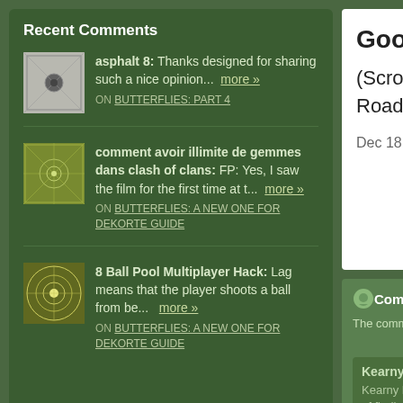Recent Comments
asphalt 8: Thanks designed for sharing such a nice opinion... more » ON BUTTERFLIES: PART 4
comment avoir illimite de gemmes dans clash of clans: FP: Yes, I saw the film for the first time at t... more » ON BUTTERFLIES: A NEW ONE FOR DEKORTE GUIDE
8 Ball Pool Multiplayer Hack: Lag means that the player shoots a ball from be... more » ON BUTTERFLIES: A NEW ONE FOR DEKORTE GUIDE
Good luck!
(Scroll down Road and mo
Dec 18, 2009 1:29:0
Comm
The comments to t
Pi
Kearny Marsh, mi
Kearny Marsh yest of finding some Bal